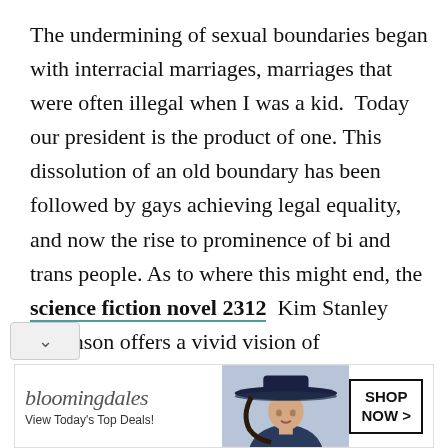The undermining of sexual boundaries began with interracial marriages, marriages that were often illegal when I was a kid.  Today our president is the product of one. This dissolution of an old boundary has been followed by gays achieving legal equality, and now the rise to prominence of bi and trans people. As to where this might end, the science fiction novel 2312  Kim Stanley Robinson offers a vivid vision of transformed gender relations in the future. Regardless of far Robinson's vision ultimately is
[Figure (other): Bloomingdale's advertisement banner with logo, tagline 'View Today's Top Deals!', image of woman in wide-brim hat, and 'SHOP NOW >' button]